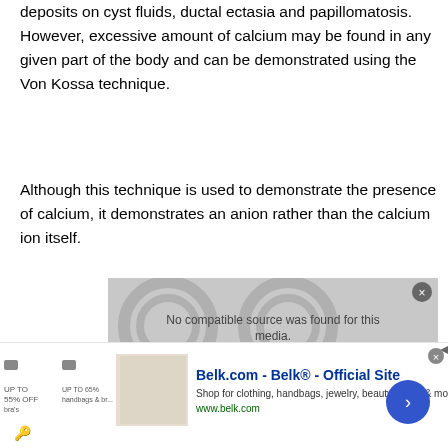deposits on cyst fluids, ductal ectasia and papillomatosis. However, excessive amount of calcium may be found in any given part of the body and can be demonstrated using the Von Kossa technique.
Although this technique is used to demonstrate the presence of calcium, it demonstrates an anion rather than the calcium ion itself.
Principle
[Figure (screenshot): Video overlay with message 'No compatible source was found for this media.' and a close button.]
[Figure (screenshot): Advertisement banner for Belk.com - Belk Official Site showing clothing and accessories shopping.]